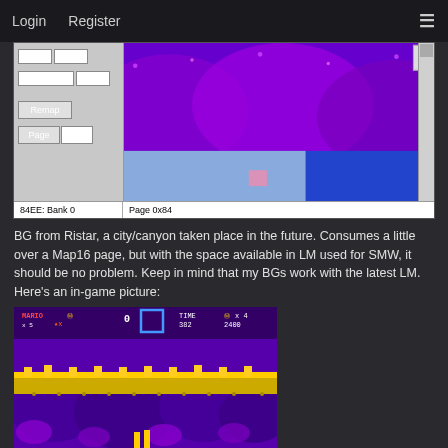Login  Register  ☰
[Figure (screenshot): Level editor screenshot showing tilemap editor with sidebar controls (Act as, Remap, Page fields showing value 80), purple/blue background graphic, and tilemap grid. Status bar shows '84EE: Bank 0' and 'Page 0x84']
BG from Ristar, a city/canyon taken place in the future. Consumes a little over a Map16 page, but with the space available in LM used for SMW, it should be no problem. Keep in mind that my BGs work with the latest LM. Here's an in-game picture:
[Figure (screenshot): In-game screenshot showing Mario level with purple/yellow canyon city background. HUD shows MARIO x 5, coins, TIME 382, 0x 4, 2400. Purple sky with yellow/orange platform structures.]